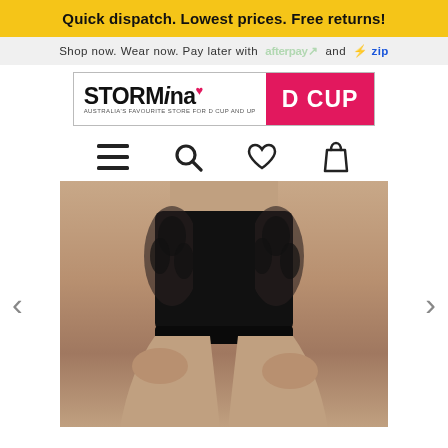Quick dispatch. Lowest prices. Free returns!
Shop now. Wear now. Pay later with afterpay and zip
[Figure (logo): Storm in a D Cup logo — left half white with bold text 'STORMina' and a pink heart, right half magenta/pink with bold white text 'D CUP'. Tagline: AUSTRALIA'S FAVOURITE STORE FOR D CUP AND UP]
[Figure (infographic): Navigation icons: hamburger menu, search magnifier, heart/wishlist, shopping bag]
[Figure (photo): Close-up of a woman's torso and hips wearing a black high-waisted swimsuit bottom with sheer mesh floral side panels. Her hands rest on her thighs. Navigation left/right arrows visible on sides.]